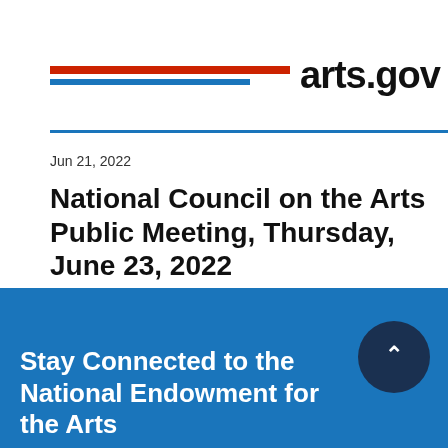[Figure (logo): National Endowment for the Arts logo with red and blue horizontal lines and arts.gov text]
Jun 21, 2022
National Council on the Arts Public Meeting, Thursday, June 23, 2022
Stay Connected to the National Endowment for the Arts